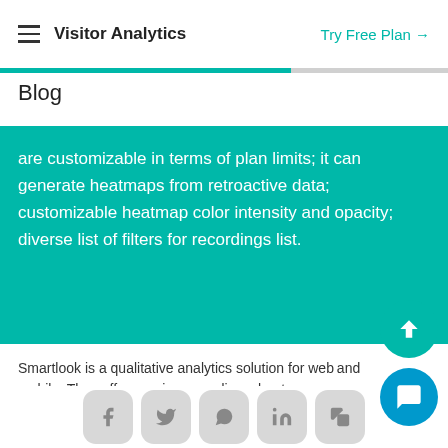Visitor Analytics   Try Free Plan →
Blog
are customizable in terms of plan limits; it can generate heatmaps from retroactive data; customizable heatmap color intensity and opacity; diverse list of filters for recordings list.
Smartlook is a qualitative analytics solution for web and mobile. They offer session recordings, heatmaps, conversion funnels, and event tracking.
Heatmap tool
An interesting...